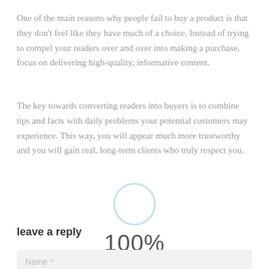One of the main reasons why people fail to buy a product is that they don't feel like they have much of a choice. Instead of trying to compel your readers over and over into making a purchase, focus on delivering high-quality, informative content.
The key towards converting readers into buyers is to combine tips and facts with daily problems your potential customers may experience. This way, you will appear much more trustworthy and you will gain real, long-term clients who truly respect you.
[Figure (other): A circular loading/progress indicator showing 100% completion, with a light blue ring outline and the text '100%' centered below it.]
leave a reply
Name *